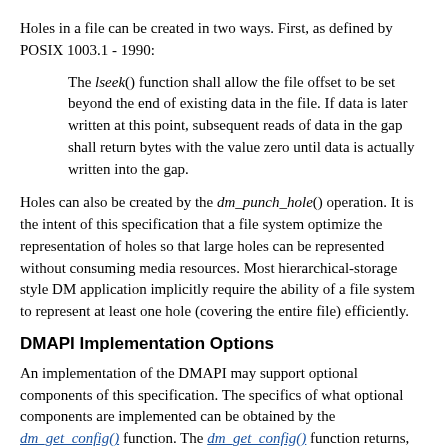Holes in a file can be created in two ways. First, as defined by POSIX 1003.1 - 1990:
The lseek() function shall allow the file offset to be set beyond the end of existing data in the file. If data is later written at this point, subsequent reads of data in the gap shall return bytes with the value zero until data is actually written into the gap.
Holes can also be created by the dm_punch_hole() operation. It is the intent of this specification that a file system optimize the representation of holes so that large holes can be represented without consuming media resources. Most hierarchical-storage style DM application implicitly require the ability of a file system to represent at least one hole (covering the entire file) efficiently.
DMAPI Implementation Options
An implementation of the DMAPI may support optional components of this specification. The specifics of what optional components are implemented can be obtained by the dm_get_config() function. The dm_get_config() function returns, for a file system, whether the following optional functions are supported: